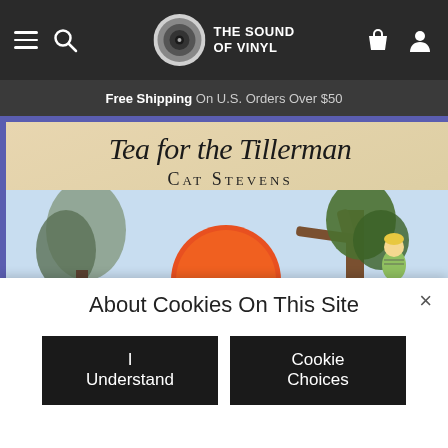THE SOUND OF VINYL
Free Shipping On U.S. Orders Over $50
[Figure (illustration): Tea for the Tillerman album cover by Cat Stevens showing illustrated scene with a boy in a tree, a figure in a hat, a large red/orange sun, and trees against a blue sky]
About Cookies On This Site
I Understand
Cookie Choices